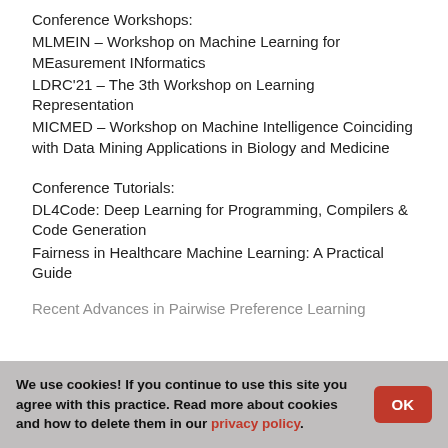Conference Workshops:
MLMEIN – Workshop on Machine Learning for MEasurement INformatics
LDRC'21 – The 3th Workshop on Learning Representation
MICMED – Workshop on Machine Intelligence Coinciding with Data Mining Applications in Biology and Medicine
Conference Tutorials:
DL4Code: Deep Learning for Programming, Compilers & Code Generation
Fairness in Healthcare Machine Learning: A Practical Guide
Recent Advances in Pairwise Preference Learning
We use cookies! If you continue to use this site you agree with this practice. Read more about cookies and how to delete them in our privacy policy.